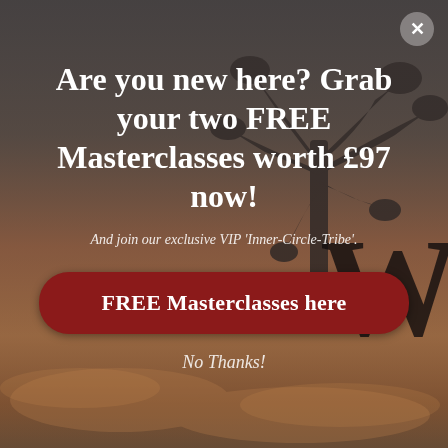[Figure (screenshot): Background image of a sunset sky with silhouetted tree branches, overlaid with a dark semi-transparent overlay forming a popup modal]
Are you new here? Grab your two FREE Masterclasses worth £97 now!
And join our exclusive VIP 'Inner-Circle-Tribe'.
FREE Masterclasses here
No Thanks!